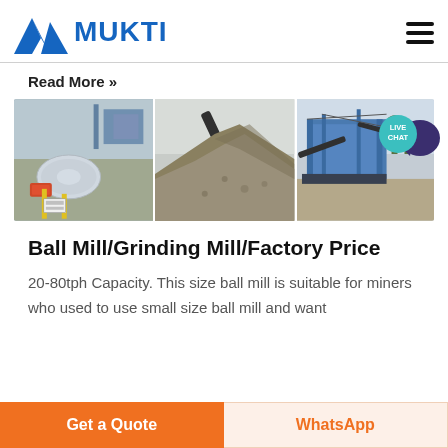[Figure (logo): Mukti company logo with blue triangular mountain icon and bold blue MUKTI text]
Read More »
[Figure (photo): Three-panel image strip showing industrial mining equipment: left panel shows a ball mill grinder in orange/red, center panel shows a large pile of crushed stone/gravel with conveyor belt, right panel shows a blue industrial crushing/screening plant]
Ball Mill/Grinding Mill/Factory Price
20-80tph Capacity. This size ball mill is suitable for miners who used to use small size ball mill and want
Get a Quote
WhatsApp